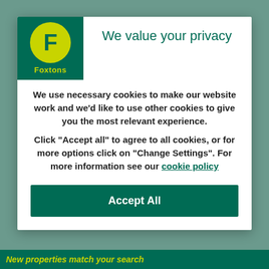[Figure (logo): Foxtons real estate logo: green square background with yellow circular badge containing letter F, yellow Foxtons text below]
We value your privacy
We use necessary cookies to make our website work and we'd like to use other cookies to give you the most relevant experience.
Click “Accept all” to agree to all cookies, or for more options click on “Change Settings”. For more information see our cookie policy